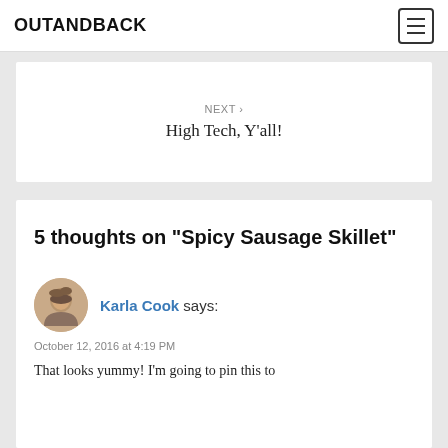OUTANDBACK
NEXT ›
High Tech, Y'all!
5 thoughts on “Spicy Sausage Skillet”
Karla Cook says:
October 12, 2016 at 4:19 PM
That looks yummy! I’m going to pin this to